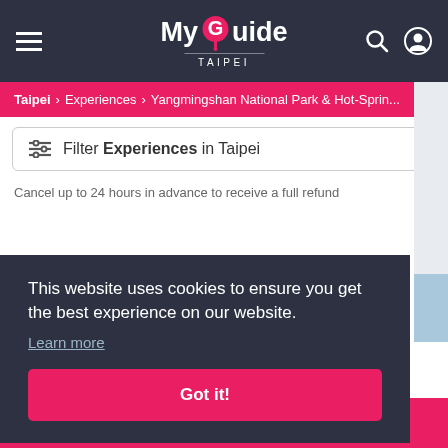MyGuide TAIPEI
Taipei > Experiences > Yangmingshan National Park & Hot-Sprin...
Filter Experiences in Taipei
Cancel up to 24 hours in advance to receive a full refund
This website uses cookies to ensure you get the best experience on our website.
Learn more
Got it!